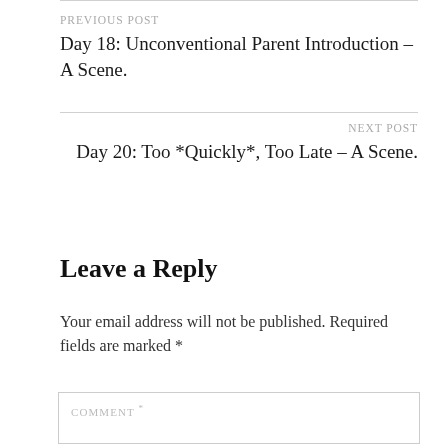PREVIOUS POST
Day 18: Unconventional Parent Introduction – A Scene.
NEXT POST
Day 20: Too *Quickly*, Too Late – A Scene.
Leave a Reply
Your email address will not be published. Required fields are marked *
COMMENT *